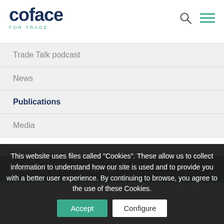coface FOR TRADE
Trade Talk podcast
News
Publications
Media
04/15/2012
2011 ACTIVITY REPORT
This website uses files called "Cookies". These allow us to collect information to understand how our site is used and to provide you with a better user experience. By continuing to browse, you agree to the use of these Cookies.